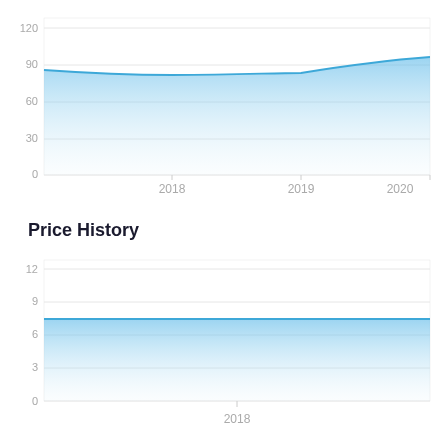[Figure (area-chart): ]
Price History
[Figure (area-chart): ]